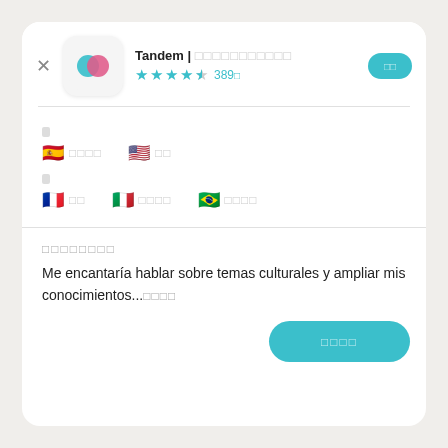[Figure (screenshot): App store listing for Tandem language exchange app with app icon (teal and pink overlapping circles), rating stars, language flags, about section with Spanish text, and action buttons]
Tandem | □□□□□□□□□□□
★★★★½ 389□
□
🇪🇸 □□□□  🇺🇸 □□
□
🇫🇷 □□  🇮🇹 □□□□  🇧🇷 □□□□
□□□□□□□□
Me encantaría hablar sobre temas culturales y ampliar mis conocimientos...□□□□